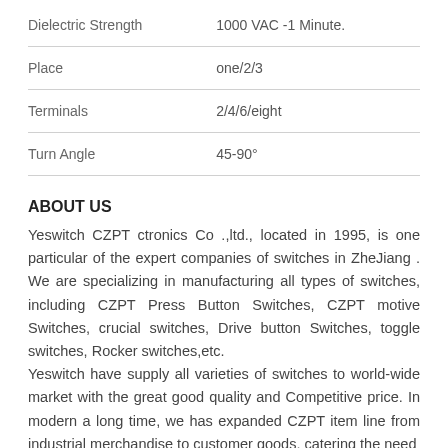| Property | Value |
| --- | --- |
| Dielectric Strength | 1000 VAC -1 Minute. |
| Place | one/2/3 |
| Terminals | 2/4/6/eight |
| Turn Angle | 45-90° |
ABOUT US
Yeswitch CZPT ctronics Co .,ltd., located in 1995, is one particular of the expert companies of switches in ZheJiang . We are specializing in manufacturing all types of switches, including CZPT Press Button Switches, CZPT motive Switches, crucial switches, Drive button Switches, toggle switches, Rocker switches,etc.
Yeswitch have supply all varieties of switches to world-wide market with the great good quality and Competitive price. In modern a long time, we has expanded CZPT item line from industrial merchandise to customer goods, catering the need